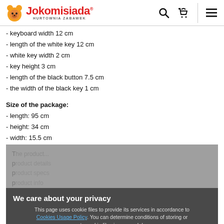Jokomisiada HURTOWNIA ZABAWEK
- keyboard width 12 cm
- length of the white key 12 cm
- white key width 2 cm
- key height 3 cm
- length of the black button 7.5 cm
- the width of the black key 1 cm
Size of the package:
- length: 95 cm
- height: 34 cm
- width: 15.5 cm
[Figure (screenshot): Privacy cookie consent overlay popup with title 'We care about your privacy', body text about cookie usage policy, a blue 'Close' button, and a blurred content area behind the overlay.]